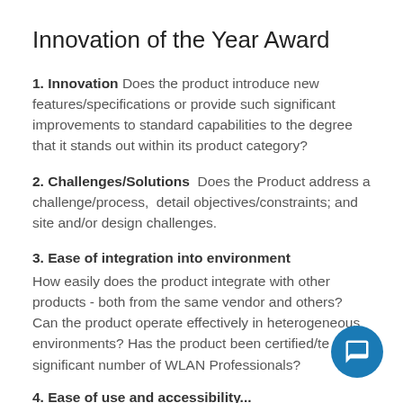Innovation of the Year Award
1. Innovation Does the product introduce new features/specifications or provide such significant improvements to standard capabilities to the degree that it stands out within its product category?
2. Challenges/Solutions  Does the Product address a challenge/process,  detail objectives/constraints; and site and/or design challenges.
3. Ease of integration into environment How easily does the product integrate with other products - both from the same vendor and others? Can the product operate effectively in heterogeneous environments? Has the product been certified/te a significant number of WLAN Professionals?
4. Ease of use and accessibility...